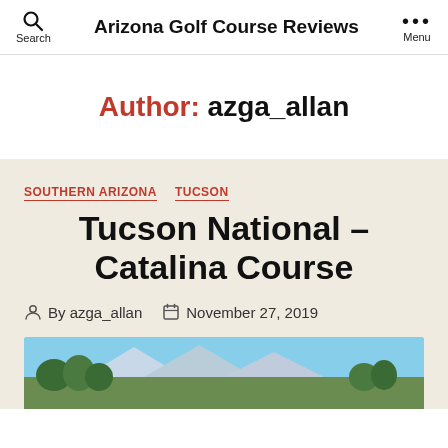Arizona Golf Course Reviews
Author: azga_allan
SOUTHERN ARIZONA  TUCSON
Tucson National – Catalina Course
By azga_allan  November 27, 2019
[Figure (photo): Outdoor photo of Tucson National golf course showing trees and mountains in the background under a blue sky]